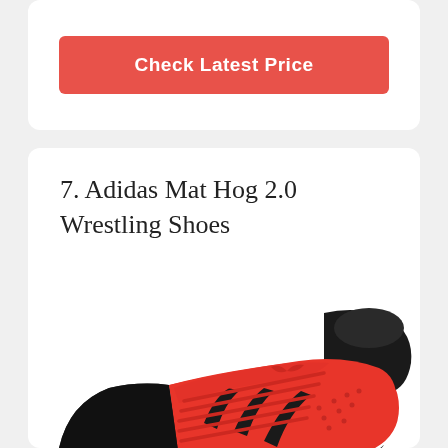Check Latest Price
7. Adidas Mat Hog 2.0 Wrestling Shoes
[Figure (photo): Adidas Mat Hog 2.0 Wrestling Shoe in red and black colorway, shown from the side. The shoe features a high-top ankle collar in black, red mesh upper body with black Adidas three stripes on the side, red laces, and a black rubber outsole.]